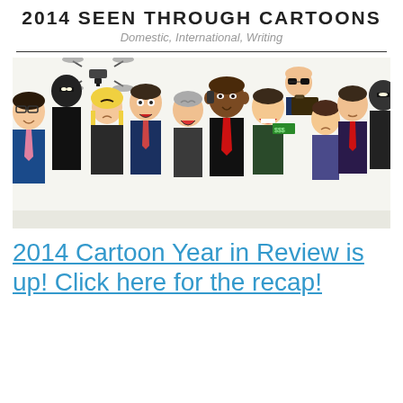2014 SEEN THROUGH CARTOONS
Domestic, International, Writing
[Figure (illustration): Cartoon illustration of a group of caricatured political figures crowded together, including figures resembling Obama, Biden, Kerry, Putin, and others in suits, with a drone flying above them.]
2014 Cartoon Year in Review is up! Click here for the recap!